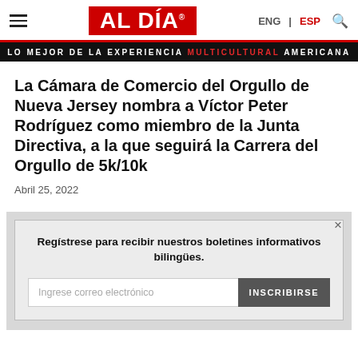AL DÍA
LO MEJOR DE LA EXPERIENCIA MULTICULTURAL AMERICANA
La Cámara de Comercio del Orgullo de Nueva Jersey nombra a Víctor Peter Rodríguez como miembro de la Junta Directiva, a la que seguirá la Carrera del Orgullo de 5k/10k
Abril 25, 2022
Regístrese para recibir nuestros boletines informativos bilingües.